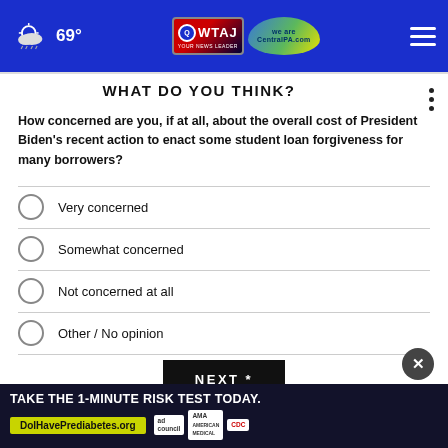69° | WTAJ | CentralPA.com
WHAT DO YOU THINK?
How concerned are you, if at all, about the overall cost of President Biden's recent action to enact some student loan forgiveness for many borrowers?
Very concerned
Somewhat concerned
Not concerned at all
Other / No opinion
NEXT *
* By clicking "NEXT" you agree to the following: We use cookies to track your response and this site. We will never sell your information. Please read
[Figure (screenshot): Advertisement banner: TAKE THE 1-MINUTE RISK TEST TODAY. DolHavePrediabetes.org with ad council, AMA, and CDC logos.]